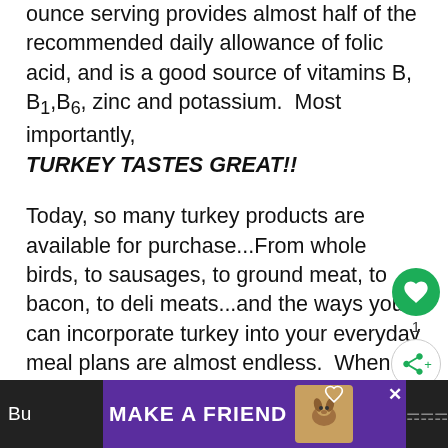ounce serving provides almost half of the recommended daily allowance of folic acid, and is a good source of vitamins B, B1,B6, zinc and potassium.  Most importantly, TURKEY TASTES GREAT!!
Today, so many turkey products are available for purchase...From whole birds, to sausages, to ground meat, to bacon, to deli meats...and the ways you can incorporate turkey into your everyday meal plans are almost endless.  When it comes to variety, Butterball® has you covered!  Click HERE to see all that Bu...
[Figure (screenshot): UI overlay with green heart/like button showing count 1 and a share button]
Bu... MAKE A FRIEND [advertisement banner with dog image] ✕  [dark footer bar]